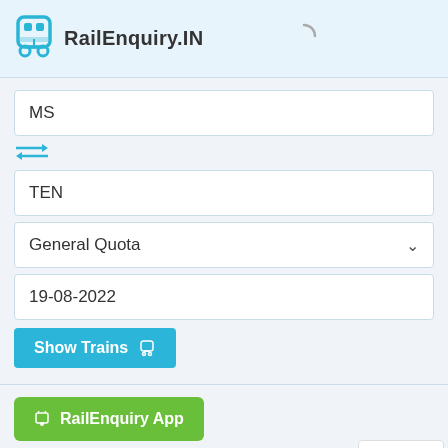RailEnquiry.IN
MS
TEN
General Quota
19-08-2022
Show Trains
RailEnquiry App
06003 - Chennai Egmore - Tirunelveli Specialfare Special Delay